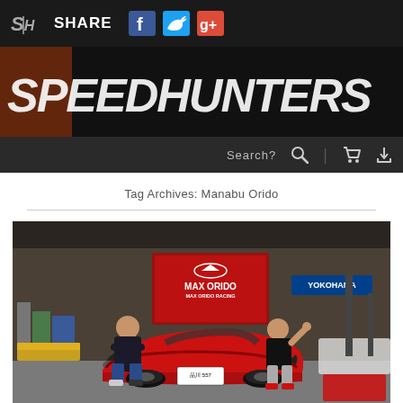SHARE [Facebook] [Twitter] [Google+]
[Figure (screenshot): Speedhunters website banner with italic bold white logo text on dark background]
Search?
Tag Archives: Manabu Orido
[Figure (photo): Two people standing in front of a red Toyota 86 sports car inside the Max Orido Racing garage. A man in a black jacket with crossed arms stands on the left; a woman in a black shirt giving a thumbs up stands on the right. Yokohama logo visible in background along with other sports cars. Bottom left shows SPEEDHUNTERS / DINO DALLE CARBONARE photo credit.]